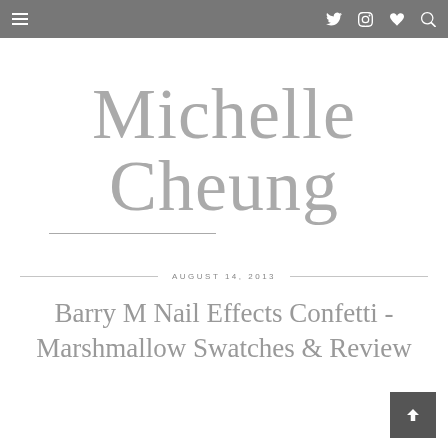Navigation bar with hamburger menu, Twitter, Instagram, heart, and search icons
[Figure (logo): Michelle Cheung blog logo in cursive/script grey handwriting style with underline]
AUGUST 14, 2013
Barry M Nail Effects Confetti - Marshmallow Swatches & Review